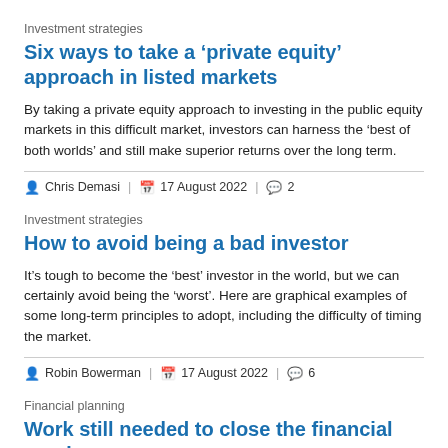Investment strategies
Six ways to take a ‘private equity’ approach in listed markets
By taking a private equity approach to investing in the public equity markets in this difficult market, investors can harness the ‘best of both worlds’ and still make superior returns over the long term.
Chris Demasi | 17 August 2022 | 2
Investment strategies
How to avoid being a bad investor
It’s tough to become the ‘best’ investor in the world, but we can certainly avoid being the ‘worst’. Here are graphical examples of some long-term principles to adopt, including the difficulty of timing the market.
Robin Bowerman | 17 August 2022 | 6
Financial planning
Work still needed to close the financial gender gap